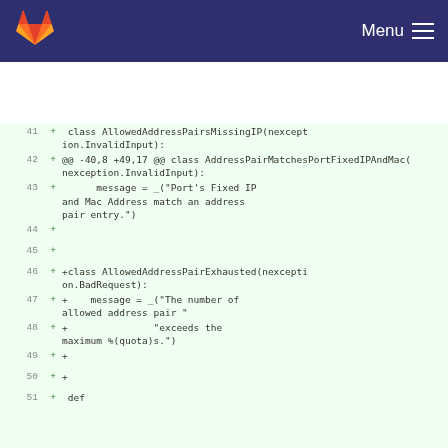Menu
[Figure (screenshot): GitLab code diff view showing Python class definitions for AllowedAddressPairsMissingIP, AddressPairMatchesPortFixedIPAndMac, and AllowedAddressPairExhausted exception classes, lines 41-51, all marked as additions (+).]